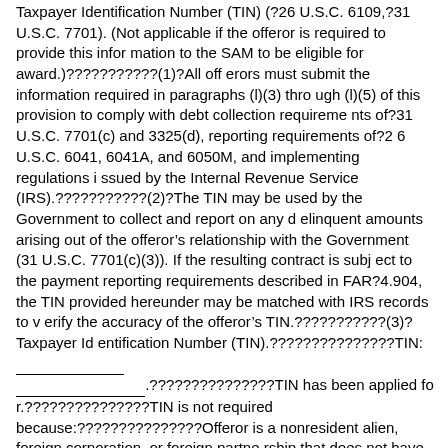Taxpayer Identification Number (TIN) (?26 U.S.C. 6109,?31 U.S.C. 7701). (Not applicable if the offeror is required to provide this information to the SAM to be eligible for award.)???????????(1)?All offerors must submit the information required in paragraphs (l)(3) through (l)(5) of this provision to comply with debt collection requirements of?31 U.S.C. 7701(c) and 3325(d), reporting requirements of?26 U.S.C. 6041, 6041A, and 6050M, and implementing regulations issued by the Internal Revenue Service (IRS).???????????(2)?The TIN may be used by the Government to collect and report on any delinquent amounts arising out of the offeror’s relationship with the Government (31 U.S.C. 7701(c)(3)). If the resulting contract is subject to the payment reporting requirements described in FAR?4.904, the TIN provided hereunder may be matched with IRS records to verify the accuracy of the offeror’s TIN.???????????(3)?Taxpayer Identification Number (TIN).???????????????TIN: _______________ _______________.???????????????TIN has been applied for.???????????????TIN is not required because:???????????????Offeror is a nonresident alien, foreign corporation, or foreign partnership that does not have income effectively connected with the conduct of a trade or business in the United States and does not have an office or place of business or a fiscal paying agent in the United States:???????????????Offeror is an agency or instrumentality of